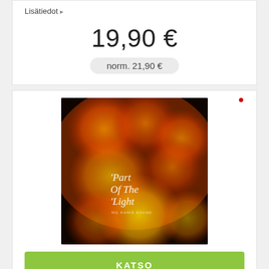Lisätiedot ▸
19,90 €
norm. 21,90 €
[Figure (photo): Album cover for 'Part Of The Light' — bokeh photograph with orange and yellow glowing circles on a dark background, text reads 'Part Of The Light' in white serif font]
KATSO
OSTA